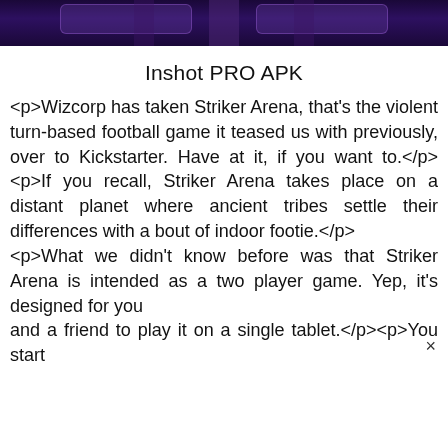[Figure (screenshot): A dark purple/violet themed banner image showing a futuristic or gaming scene with figures and glowing neon elements.]
Inshot PRO APK
<p>Wizcorp has taken Striker Arena, that's the violent turn-based football game it teased us with previously, over to Kickstarter. Have at it, if you want to.</p><p>If you recall, Striker Arena takes place on a distant planet where ancient tribes settle their differences with a bout of indoor footie.</p><p>What we didn't know before was that Striker Arena is intended as a two player game. Yep, it's designed for you and a friend to play it on a single tablet.</p><p>You start